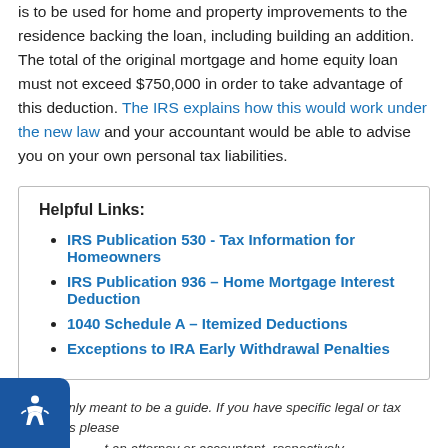is to be used for home and property improvements to the residence backing the loan, including building an addition. The total of the original mortgage and home equity loan must not exceed $750,000 in order to take advantage of this deduction. The IRS explains how this would work under the new law and your accountant would be able to advise you on your own personal tax liabilities.
Helpful Links:
IRS Publication 530 - Tax Information for Homeowners
IRS Publication 936 - Home Mortgage Interest Deduction
1040 Schedule A - Itemized Deductions
Exceptions to IRA Early Withdrawal Penalties
This is only meant to be a guide. If you have specific legal or tax questions please consult an attorney or accountant, respectively.